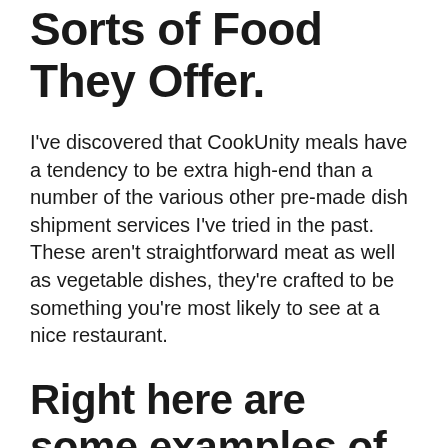Sorts of Food They Offer.
I've discovered that CookUnity meals have a tendency to be extra high-end than a number of the various other pre-made dish shipment services I've tried in the past. These aren't straightforward meat as well as vegetable dishes, they're crafted to be something you're most likely to see at a nice restaurant.
Right here are some examples of meals we've seen on the menu in the past to provide you an